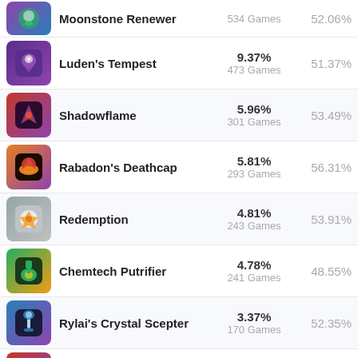| Item | Pick % | Win % |
| --- | --- | --- |
| Moonstone Renewer | 534 Games | 52.06% |
| Luden's Tempest | 9.37% / 473 Games | 51.37% |
| Shadowflame | 5.96% / 301 Games | 53.49% |
| Rabadon's Deathcap | 5.81% / 293 Games | 56.31% |
| Redemption | 4.81% / 243 Games | 53.91% |
| Chemtech Putrifier | 4.78% / 241 Games | 48.55% |
| Rylai's Crystal Scepter | 3.37% / 170 Games | 52.35% |
| Ardent Censer | 3.31% / 167 Games | 53.89% |
| Zhonya's Hourglass | 2.73% / 138 Games | 47.83% |
Show More